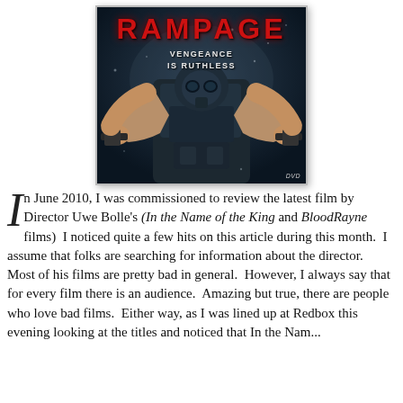[Figure (photo): DVD cover for the movie 'Rampage' showing a heavily armored soldier holding two guns, with the tagline 'VENGEANCE IS RUTHLESS' in white text. The title 'RAMPAGE' appears in bold red letters at the top. A DVD logo appears in the bottom right corner.]
In June 2010, I was commissioned to review the latest film by Director Uwe Bolle's (In the Name of the King and BloodRayne films)  I noticed quite a few hits on this article during this month.  I assume that folks are searching for information about the director.  Most of his films are pretty bad in general.  However, I always say that for every film there is an audience.  Amazing but true, there are people who love bad films.  Either way, as I was lined up at Redbox this evening looking at the titles and noticed that In the Nam...